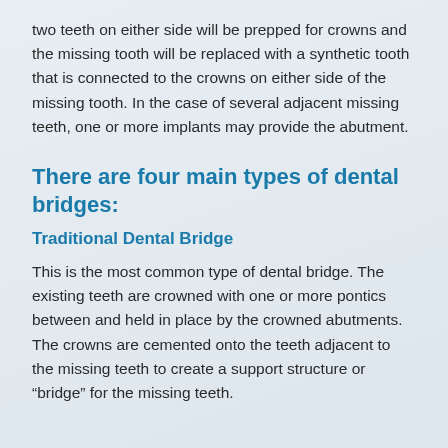two teeth on either side will be prepped for crowns and the missing tooth will be replaced with a synthetic tooth that is connected to the crowns on either side of the missing tooth. In the case of several adjacent missing teeth, one or more implants may provide the abutment.
There are four main types of dental bridges:
Traditional Dental Bridge
This is the most common type of dental bridge. The existing teeth are crowned with one or more pontics between and held in place by the crowned abutments. The crowns are cemented onto the teeth adjacent to the missing teeth to create a support structure or “bridge” for the missing teeth.